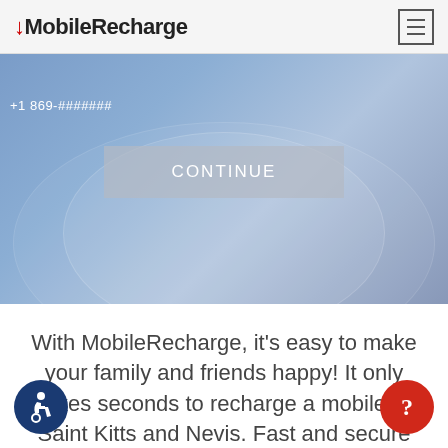MobileRecharge
[Figure (screenshot): Blue hero banner with phone number input field showing '+1 869-#######', a gray CONTINUE button, and a blurred globe background.]
With MobileRecharge, it's easy to make your family and friends happy! It only takes seconds to recharge a mobile in Saint Kitts and Nevis. Fast and secure mobile recharges, exciting bonuses and more.